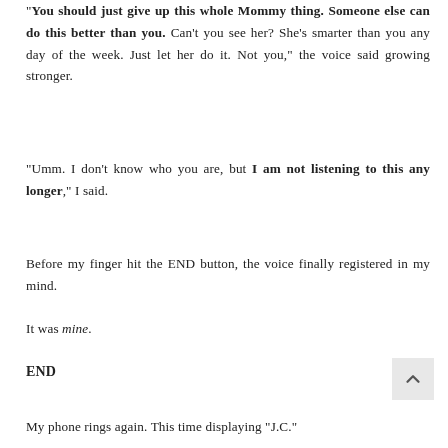“You should just give up this whole Mommy thing. Someone else can do this better than you. Can't you see her? She's smarter than you any day of the week. Just let her do it. Not you,” the voice said growing stronger.
“Umm. I don’t know who you are, but I am not listening to this any longer,” I said.
Before my finger hit the END button, the voice finally registered in my mind.
It was mine.
END
My phone rings again. This time displaying “J.C.”